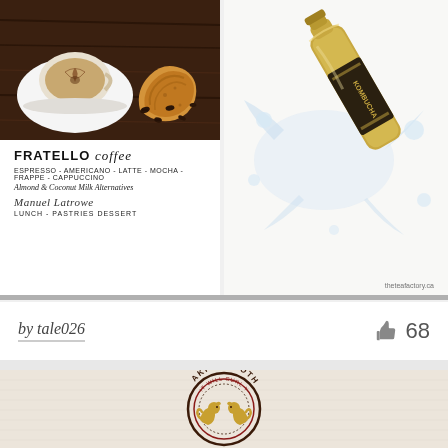[Figure (photo): Left panel: coffee cup with latte art and a croissant on a dark wooden board, above Fratello Coffee branding text. Right panel: gold Kombucha bottle with water splash on white background, with theteafactory.ca watermark.]
FRATELLO coffee
ESPRESSO - AMERICANO - LATTE - MOCHA - FRAPPE - CAPPUCCINO
Almond & Coconut Milk Alternatives
Manuel Latrowe
LUNCH - PASTRIES DESSERT
theteafactory.ca
by tale026   👍 68
[Figure (logo): Akita Brothers circular badge logo on a linen/burlap background. Text reads 'AKITA BROTHERS' in bold along the top arc, 'IT WILL CURL YOUR TAIL' in smaller text along inner arc, with two Akita dog silhouettes facing each other in the center. Colors: dark brown/maroon and gold.]